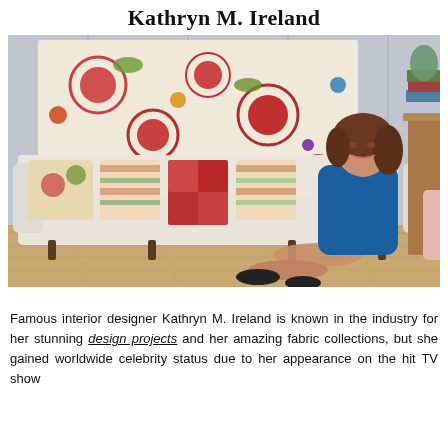Kathryn M. Ireland
[Figure (photo): Kathryn M. Ireland sitting on a white sofa in a living room with a colorful floral tapestry on the wall behind her, surrounded by decorative pillows. She is wearing a blue dress.]
Famous interior designer Kathryn M. Ireland is known in the industry for her stunning design projects and her amazing fabric collections, but she gained worldwide celebrity status due to her appearance on the hit TV show...